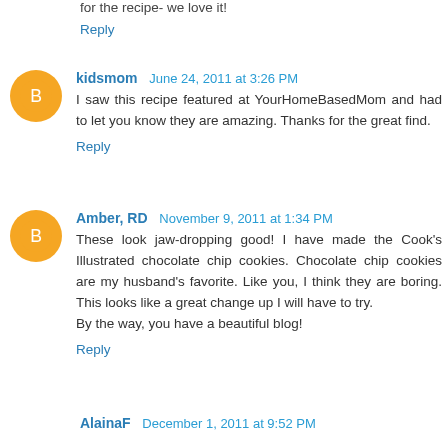for the recipe- we love it!
Reply
kidsmom  June 24, 2011 at 3:26 PM
I saw this recipe featured at YourHomeBasedMom and had to let you know they are amazing. Thanks for the great find.
Reply
Amber, RD  November 9, 2011 at 1:34 PM
These look jaw-dropping good! I have made the Cook's Illustrated chocolate chip cookies. Chocolate chip cookies are my husband's favorite. Like you, I think they are boring. This looks like a great change up I will have to try.
By the way, you have a beautiful blog!
Reply
AlainaF  December 1, 2011 at 9:52 PM